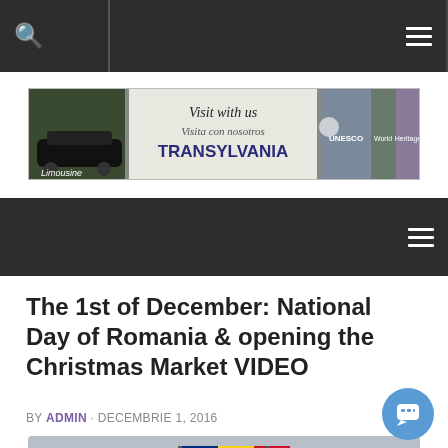Navigation bar with search and menu icons
[Figure (photo): Banner image for Transylvania tourism website showing limousine, 'Visit with us / Visita con nosotros TRANSYLVANIA' text, UNESCO World Heritage label, and Romanian architectural photos]
Second navigation bar with hamburger menu
The 1st of December: National Day of Romania & opening the Christmas Market VIDEO
BY ADMIN · DECEMBRIE 1, 2016
[Figure (photo): Photo showing Romanian flag and a church tower/steeple against a grey sky]